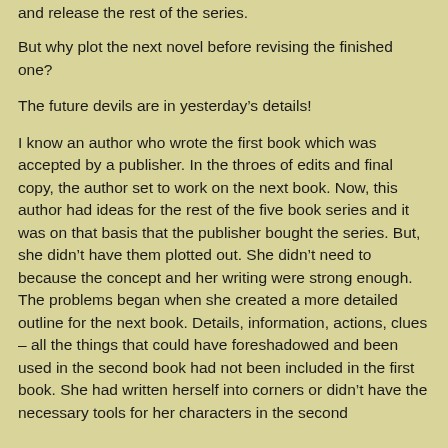and release the rest of the series.
But why plot the next novel before revising the finished one?
The future devils are in yesterday’s details!
I know an author who wrote the first book which was accepted by a publisher. In the throes of edits and final copy, the author set to work on the next book. Now, this author had ideas for the rest of the five book series and it was on that basis that the publisher bought the series. But, she didn’t have them plotted out. She didn’t need to because the concept and her writing were strong enough. The problems began when she created a more detailed outline for the next book. Details, information, actions, clues – all the things that could have foreshadowed and been used in the second book had not been included in the first book. She had written herself into corners or didn’t have the necessary tools for her characters in the second